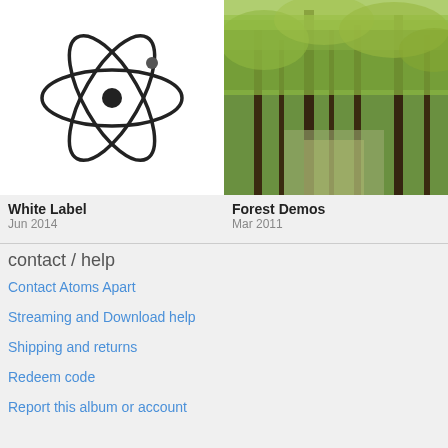[Figure (photo): Album artwork for White Label: hand-drawn atom symbol on white background]
White Label
Jun 2014
[Figure (photo): Album artwork for Forest Demos: photograph of forest trees with green and yellow foliage]
Forest Demos
Mar 2011
contact / help
Contact Atoms Apart
Streaming and Download help
Shipping and returns
Redeem code
Report this album or account